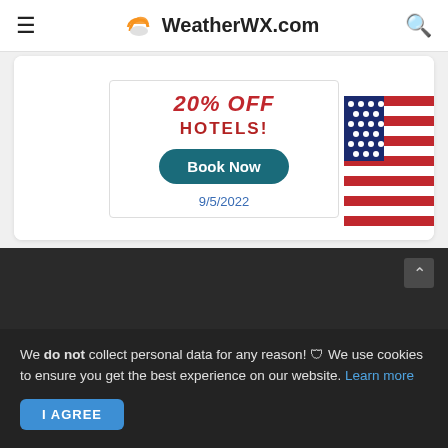WeatherWX.com
[Figure (screenshot): Hotel advertisement banner showing 'HOTELS!' in red bold text with a teal 'Book Now' button and American flag imagery, dated 9/5/2022]
Maquon, IL Doppler Radar Weather - Find local 61458 Maquon, Illinois radar loop and radar weather images. Your best resource for Local Maquon, Illinois Radar Weather Imagery!
We do not collect personal data for any reason! 🛡 We use cookies to ensure you get the best experience on our website. Learn more
I AGREE